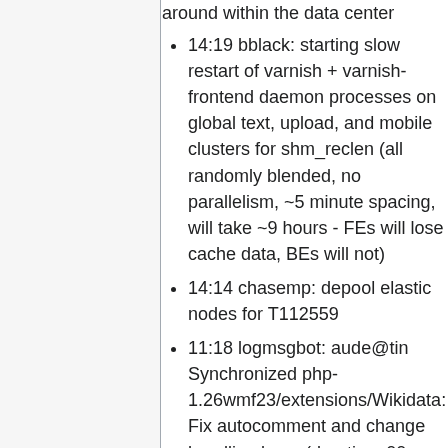around within the data center
14:19 bblack: starting slow restart of varnish + varnish-frontend daemon processes on global text, upload, and mobile clusters for shm_reclen (all randomly blended, no parallelism, ~5 minute spacing, will take ~9 hours - FEs will lose cache data, BEs will not)
14:14 chasemp: depool elastic nodes for T112559
11:18 logmsgbot: aude@tin Synchronized php-1.26wmf23/extensions/Wikidata: Fix autocomment and change handling bugs (duration: 00m 21s)
10:42 logmsgbot: aude@tin Synchronized arbitraryaccess.dblist: Enable arbitrary access for Wikibooks (duration: 00m 12s)